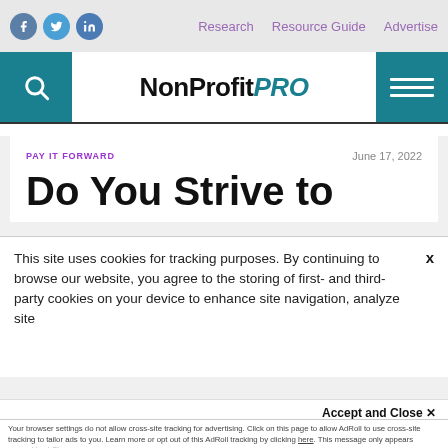NonProfit PRO — Research | Resource Guide | Advertise
[Figure (logo): NonProfit PRO logo with teal PRO text]
PAY IT FORWARD
June 17, 2022
Do You Strive to
This site uses cookies for tracking purposes. By continuing to browse our website, you agree to the storing of first- and third-party cookies on your device to enhance site navigation, analyze site usage, and assist in our marketing and
Accept and Close ✕
Your browser settings do not allow cross-site tracking for advertising. Click on this page to allow AdRoll to use cross-site tracking to tailor ads to you. Learn more or opt out of this AdRoll tracking by clicking here. This message only appears once.